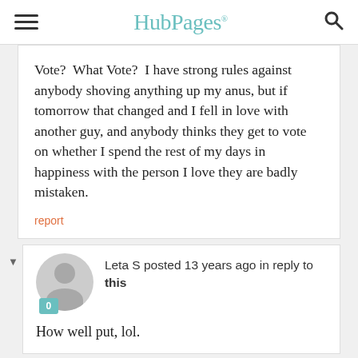HubPages
Vote?  What Vote?  I have strong rules against anybody shoving anything up my anus, but if tomorrow that changed and I fell in love with another guy, and anybody thinks they get to vote on whether I spend the rest of my days in happiness with the person I love they are badly mistaken.
report
Leta S posted 13 years ago in reply to this
How well put, lol.